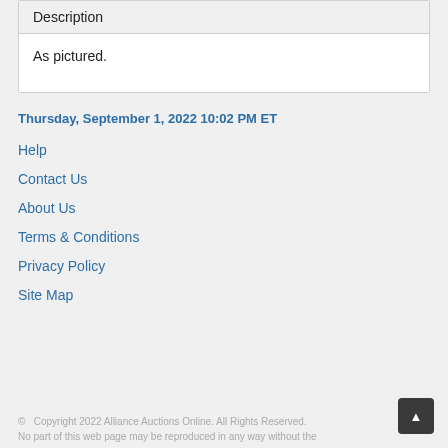| Description |
| --- |
| As pictured. |
Thursday, September 1, 2022 10:02 PM ET
Help
Contact Us
About Us
Terms & Conditions
Privacy Policy
Site Map
© Copyright 2022 Alliance Auctions Online. All Rights Reserved. No part of this web page may be reproduced in any way without the